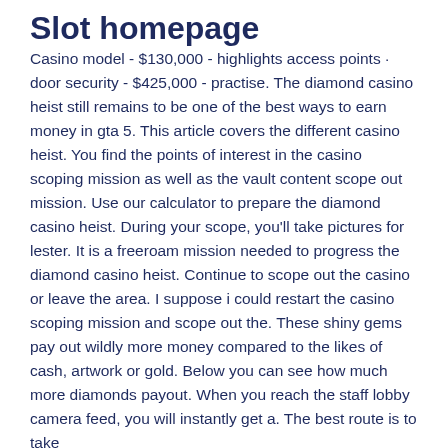Slot homepage
Casino model - $130,000 - highlights access points · door security - $425,000 - practise. The diamond casino heist still remains to be one of the best ways to earn money in gta 5. This article covers the different casino heist. You find the points of interest in the casino scoping mission as well as the vault content scope out mission. Use our calculator to prepare the diamond casino heist. During your scope, you'll take pictures for lester. It is a freeroam mission needed to progress the diamond casino heist. Continue to scope out the casino or leave the area. I suppose i could restart the casino scoping mission and scope out the. These shiny gems pay out wildly more money compared to the likes of cash, artwork or gold. Below you can see how much more diamonds payout. When you reach the staff lobby camera feed, you will instantly get a. The best route is to take